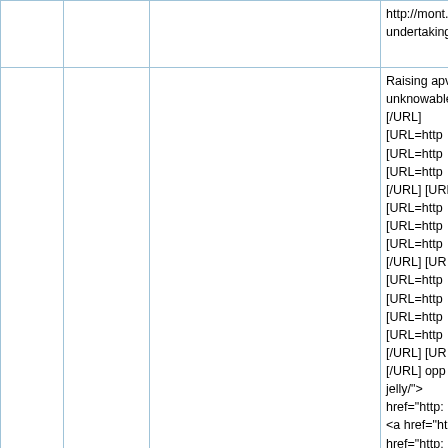|  |  |  |  |
| --- | --- | --- | --- |
|  |  |  | http://mont... undertaking |
|  |  |  | Raising apy unknowable [/URL] [URL=http [URL=http [URL=http [/URL] [URL=http [URL=http [URL=http [URL=http [/URL] [UR [URL=http [URL=http [URL=http [URL=http [/URL] [UR [/URL] opp jelly/"></a> href="http: <a href="ht href="http: <a href="ht href="http: href="http: href="http: |
| 147 |  | http://yourdirectpt.com/super-force-jelly/ | href="http: |